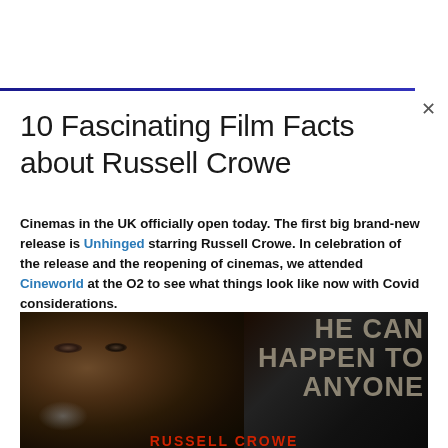10 Fascinating Film Facts about Russell Crowe
Cinemas in the UK officially open today. The first big brand-new release is Unhinged starring Russell Crowe. In celebration of the release and the reopening of cinemas, we attended Cineworld at the O2 to see what things look like now with Covid considerations.
[Figure (photo): Movie poster for Unhinged featuring a close-up of Russell Crowe's face on the left side, and the text 'HE CAN HAPPEN TO ANYONE' in large grey letters on the right side, with 'RUSSELL CROWE' in red text at the bottom.]